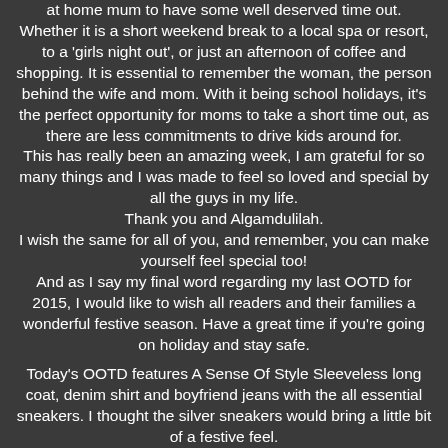at home mum to have some well deserved time out. Whether it is a short weekend break to a local spa or resort, to a 'girls night out', or just an afternoon of coffee and shopping. It is essential to remember the woman, the person behind the wife and mom. With it being school holidays, it's the perfect opportunity for moms to take a short time out, as there are less commitments to drive kids around for. This has really been an amazing week, I am grateful for so many things and I was made to feel so loved and special by all the guys in my life. Thank you and Algamdulilah. I wish the same for all of you, and remember, you can make yourself feel special too! And as I say my final word regarding my last OOTD for 2015, I would like to wish all readers and their families a wonderful festive season. Have a great time if you're going on holiday and stay safe.
Today's OOTD features A Sense Of Style Sleeveless long coat, denim shirt and boyfriend jeans with the all essential sneakers. I thought the silver sneakers would bring a little bit of a festive feel.